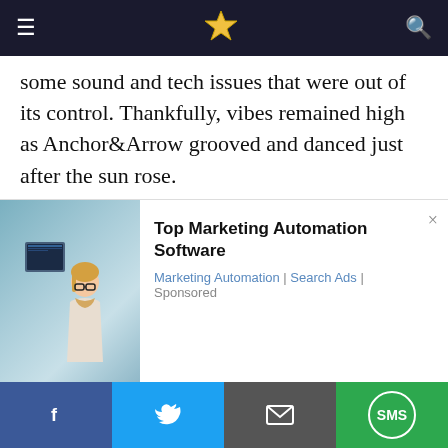Navigation bar with hamburger menu, logo, and search icon
some sound and tech issues that were out of its control. Thankfully, vibes remained high as Anchor&Arrow grooved and danced just after the sun rose.
1. Go Go Retro
The Nittany Lion was simply in awe of Go Go Retro’s performance, and so were we. The group, a sister band of beloved THON act Go Go Gadjet, made its THON debut and rocked some classic
[Figure (photo): Advertisement showing a woman with glasses in front of computer screens, for Top Marketing Automation Software]
Social share bar: Facebook, Twitter, Email, SMS